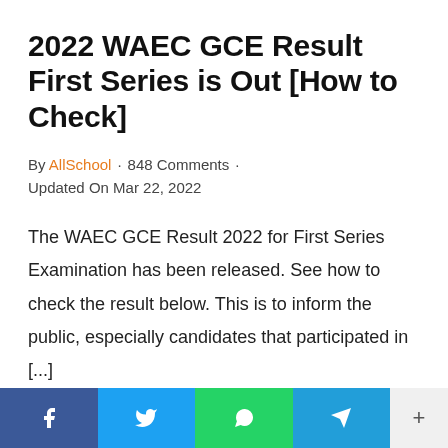2022 WAEC GCE Result First Series is Out [How to Check]
By AllSchool · 848 Comments · Updated On Mar 22, 2022
The WAEC GCE Result 2022 for First Series Examination has been released. See how to check the result below. This is to inform the public, especially candidates that participated in [...]